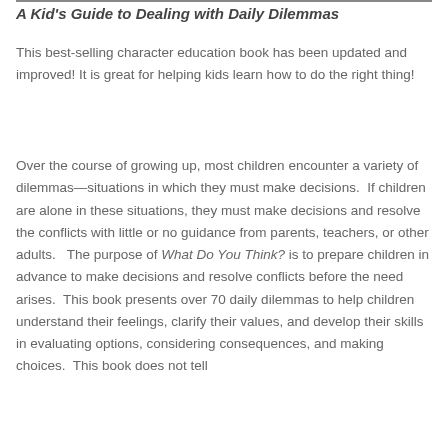A Kid's Guide to Dealing with Daily Dilemmas
This best-selling character education book has been updated and improved! It is great for helping kids learn how to do the right thing!
Over the course of growing up, most children encounter a variety of dilemmas—situations in which they must make decisions.  If children are alone in these situations, they must make decisions and resolve the conflicts with little or no guidance from parents, teachers, or other adults.   The purpose of What Do You Think? is to prepare children in advance to make decisions and resolve conflicts before the need arises.  This book presents over 70 daily dilemmas to help children understand their feelings, clarify their values, and develop their skills in evaluating options, considering consequences, and making choices.  This book does not tell